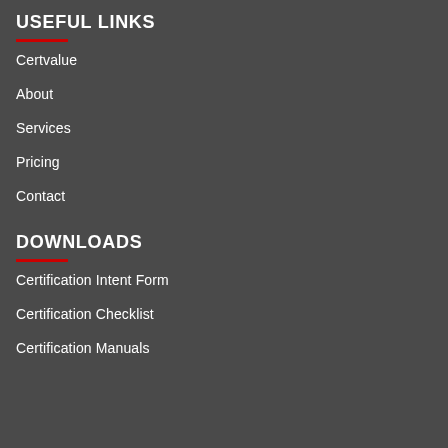USEFUL LINKS
Certvalue
About
Services
Pricing
Contact
DOWNLOADS
Certification Intent Form
Certification Checklist
Certification Manuals